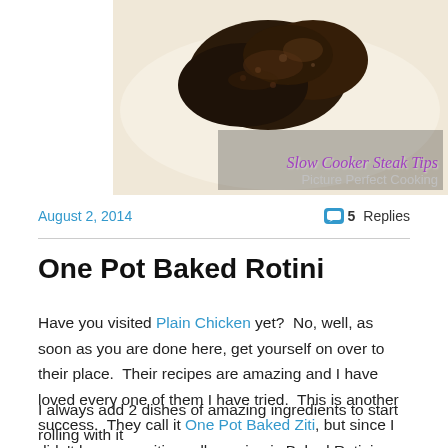[Figure (photo): Food photo showing a dark brown cooked meat/steak dish on a white plate, with overlay text 'Slow Cooker Steak Tips' and 'Picture Perfect Cooking']
August 2, 2014
5 Replies
One Pot Baked Rotini
Have you visited Plain Chicken yet?  No, well, as soon as you are done here, get yourself on over to their place.  Their recipes are amazing and I have loved every one of them I have tried.  This is another success.  They call it One Pot Baked Ziti, but since I didn't have any ziti noodles, mine is Baked Rotini instead.
I always add 2 dishes of amazing ingredients to start rolling with it